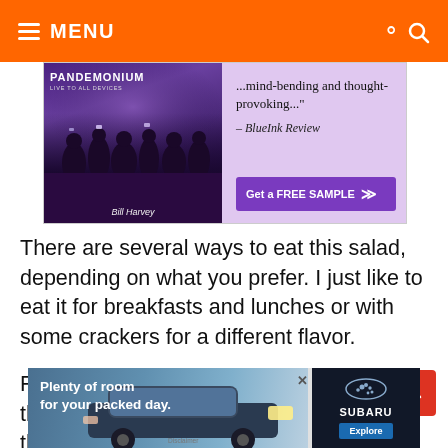≡ MENU
[Figure (advertisement): Pandemonium book advertisement with crowd image, text '...mind-bending and thought-provoking...' – BlueInk Review, and Get a FREE SAMPLE button]
There are several ways to eat this salad, depending on what you prefer. I just like to eat it for breakfasts and lunches or with some crackers for a different flavor.
For the adventurous, you can make this dish into a sandwich by adapting the same recipe and adding an egg or two to the mixture.
[Figure (advertisement): Subaru car advertisement: 'Plenty of room for your packed day.' with image of a Subaru vehicle and Explore button]